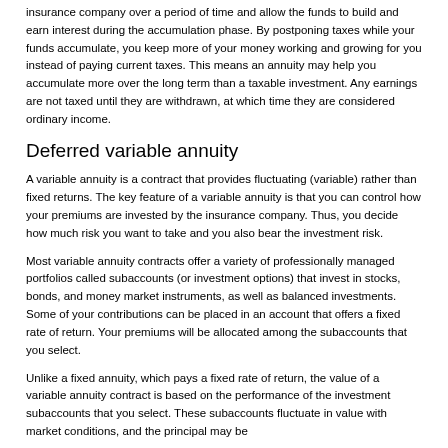insurance company over a period of time and allow the funds to build and earn interest during the accumulation phase. By postponing taxes while your funds accumulate, you keep more of your money working and growing for you instead of paying current taxes. This means an annuity may help you accumulate more over the long term than a taxable investment. Any earnings are not taxed until they are withdrawn, at which time they are considered ordinary income.
Deferred variable annuity
A variable annuity is a contract that provides fluctuating (variable) rather than fixed returns. The key feature of a variable annuity is that you can control how your premiums are invested by the insurance company. Thus, you decide how much risk you want to take and you also bear the investment risk.
Most variable annuity contracts offer a variety of professionally managed portfolios called subaccounts (or investment options) that invest in stocks, bonds, and money market instruments, as well as balanced investments. Some of your contributions can be placed in an account that offers a fixed rate of return. Your premiums will be allocated among the subaccounts that you select.
Unlike a fixed annuity, which pays a fixed rate of return, the value of a variable annuity contract is based on the performance of the investment subaccounts that you select. These subaccounts fluctuate in value with market conditions, and the principal may be